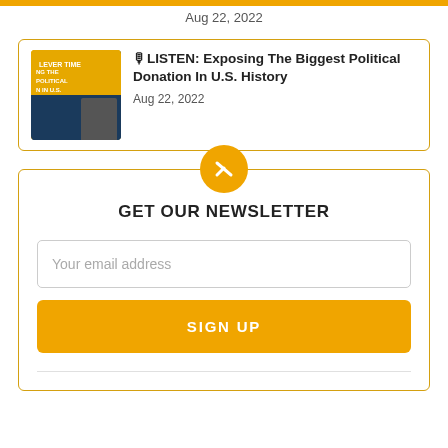Aug 22, 2022
[Figure (photo): Thumbnail image for podcast episode about political donation, showing yellow background with text overlay]
🎙 LISTEN: Exposing The Biggest Political Donation In U.S. History
Aug 22, 2022
GET OUR NEWSLETTER
Your email address
SIGN UP